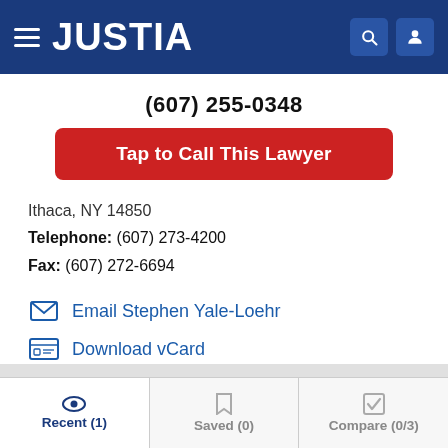JUSTIA
(607) 255-0348
Tap to Call This Lawyer
Ithaca, NY 14850
Telephone: (607) 273-4200
Fax: (607) 272-6694
Email Stephen Yale-Loehr
Download vCard
Recent (1)  Saved (0)  Compare (0/3)